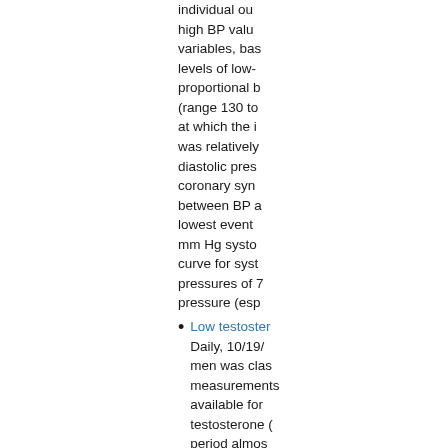individual ou... high BP valu... variables, bas... levels of low-... proportional b... (range 130 to... at which the i... was relatively... diastolic pres... coronary syn... between BP a... lowest event ... mm Hg systo... curve for syst... pressures of 7... pressure (esp...
Low testoster... Daily, 10/19/... men was clas... measurements... available for ... testosterone (... period almos... those with no...
Long-term ex...